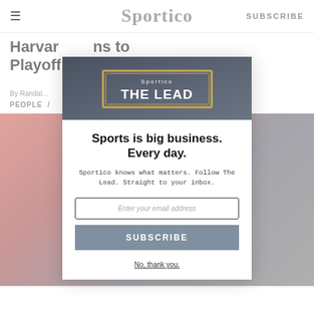Sportico  SUBSCRIBE
Harvar… ns to Playoff…
By Randal…
PEOPLE /
[Figure (screenshot): Sportico modal newsletter signup overlay showing 'THE LEAD' header image, headline 'Sports is big business. Every day.', subtext 'Sportico knows what matters. Follow The Lead. Straight to your inbox.', email input field, SUBSCRIBE button, and 'No, thank you.' link]
Sports is big business. Every day.
Sportico knows what matters. Follow The Lead. Straight to your inbox.
Enter your email address
SUBSCRIBE
No, thank you.